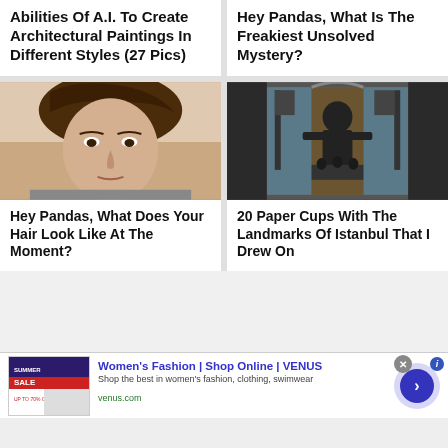Abilities Of A.I. To Create Architectural Paintings In Different Styles (27 Pics)
Hey Pandas, What Is The Freakiest Unsolved Mystery?
[Figure (photo): Close-up photo of a teenage boy with brown side-swept hair against a beige background]
Hey Pandas, What Does Your Hair Look Like At The Moment?
[Figure (photo): Photo of a decorative paper cup with drawings of Istanbul landmarks, showing a dark carved/drawn figure in an ornate frame with flags]
20 Paper Cups With The Landmarks Of Istanbul That I Drew On
Women's Fashion | Shop Online | VENUS
Shop the best in women's fashion, clothing, swimwear
venus.com